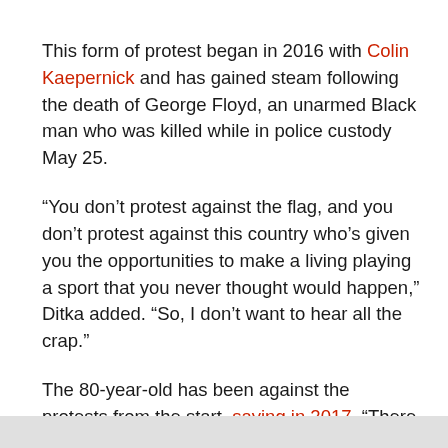This form of protest began in 2016 with Colin Kaepernick and has gained steam following the death of George Floyd, an unarmed Black man who was killed while in police custody May 25.
“You don’t protest against the flag, and you don’t protest against this country who’s given you the opportunities to make a living playing a sport that you never thought would happen,” Ditka added. “So, I don’t want to hear all the crap.”
The 80-year-old has been against the protests from the start, saying in 2017, “There has been no oppression in the last 100 years that I know of.”